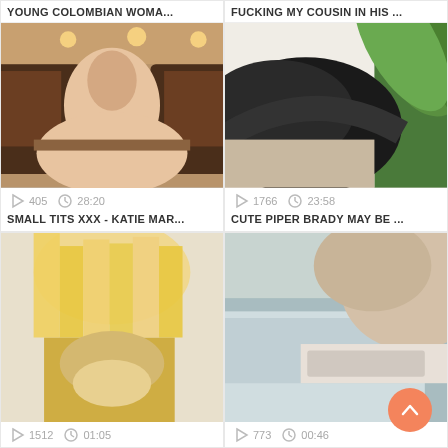YOUNG COLOMBIAN WOMA...
[Figure (photo): Video thumbnail - indoor kitchen scene]
405   28:20
SMALL TITS XXX - KATIE MAR...
FUCKING MY COUSIN IN HIS ...
[Figure (photo): Video thumbnail - person with plant background]
1766   23:58
CUTE PIPER BRADY MAY BE ...
[Figure (photo): Video thumbnail - blonde person]
1512   01:05
[Figure (photo): Video thumbnail - close up fabric scene]
773   00:46